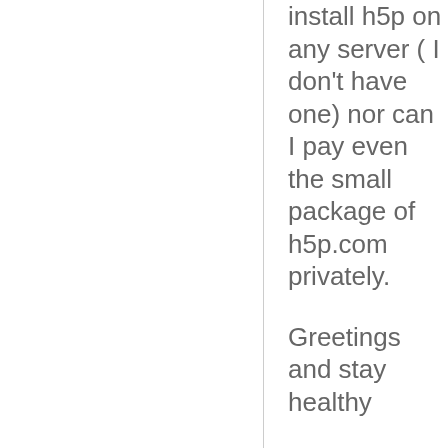install h5p on any server ( I don't have one) nor can I pay even the small package of h5p.com privately.
Greetings and stay healthy
Anke